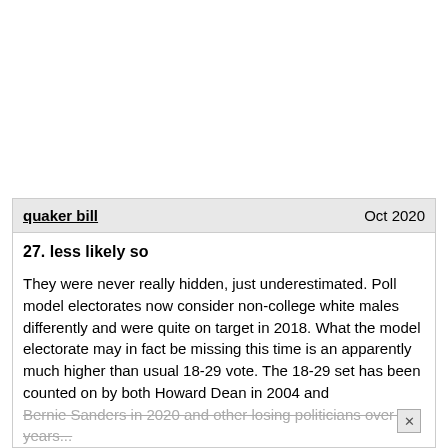quaker bill   Oct 2020
27. less likely so
They were never really hidden, just underestimated. Poll model electorates now consider non-college white males differently and were quite on target in 2018. What the model electorate may in fact be missing this time is an apparently much higher than usual 18-29 vote. The 18-29 set has been counted on by both Howard Dean in 2004 and Bernie Sanders in 2020 and other losing politicians over the years...